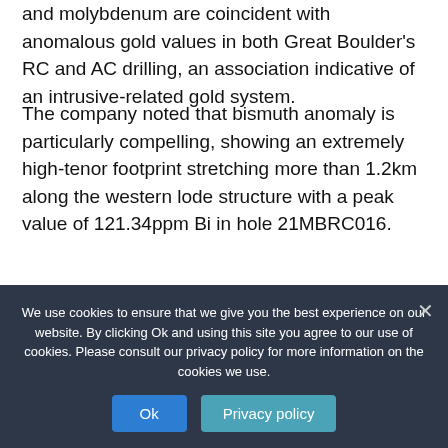and molybdenum are coincident with anomalous gold values in both Great Boulder's RC and AC drilling, an association indicative of an intrusive-related gold system.
The company noted that bismuth anomaly is particularly compelling, showing an extremely high-tenor footprint stretching more than 1.2km along the western lode structure with a peak value of 121.34ppm Bi in hole 21MBRC016.
GBR said that a number of the Company's AC holes outside the area of current drilling have returned significant
We use cookies to ensure that we give you the best experience on our website. By clicking Ok and using this site you agree to our use of cookies. Please consult our privacy policy for more information on the cookies we use.